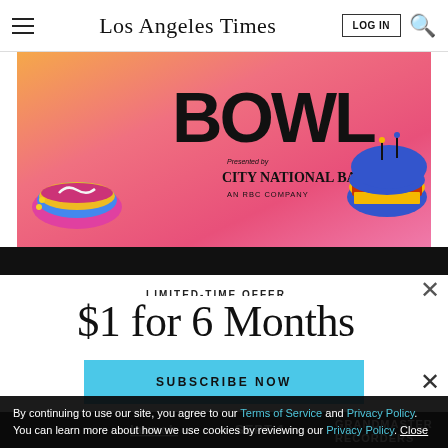Los Angeles Times
[Figure (illustration): Advertisement banner for LA Times Bowl event presented by City National Bank, an RBC Company. Colorful illustrated food items (sushi/ramen on left, hamburger on right) on a pink/orange gradient background with BOWL text.]
LIMITED-TIME OFFER
$1 for 6 Months
SUBSCRIBE NOW
[Figure (screenshot): Dark strip showing bottom navigation/promo area with text: launch SEPT 1 GRANDMASTER RECORDERS]
By continuing to use our site, you agree to our Terms of Service and Privacy Policy. You can learn more about how we use cookies by reviewing our Privacy Policy. Close